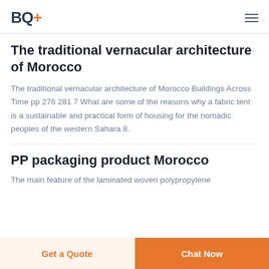BQ+
The traditional vernacular architecture of Morocco
The traditional vernacular architecture of Morocco Buildings Across Time pp 276 281 7 What are some of the reasons why a fabric tent is a sustainable and practical form of housing for the nomadic peoples of the western Sahara 8.
PP packaging product Morocco
The main feature of the laminated woven polypropylene